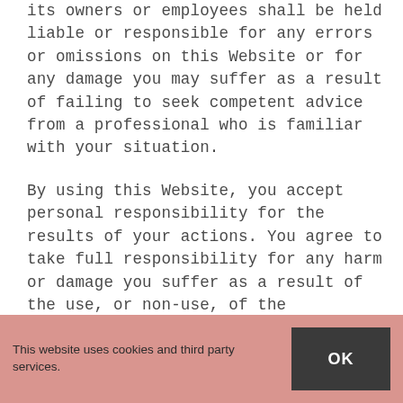its owners or employees shall be held liable or responsible for any errors or omissions on this Website or for any damage you may suffer as a result of failing to seek competent advice from a professional who is familiar with your situation.
By using this Website, you accept personal responsibility for the results of your actions. You agree to take full responsibility for any harm or damage you suffer as a result of the use, or non-use, of the information available on this Website or the resources available for download from this Website. You agree to use judgment and conduct due diligence before taking any actions or implementing any plans, ideas, or suggestions given or resources available on this Website.
This website uses cookies and third party services.